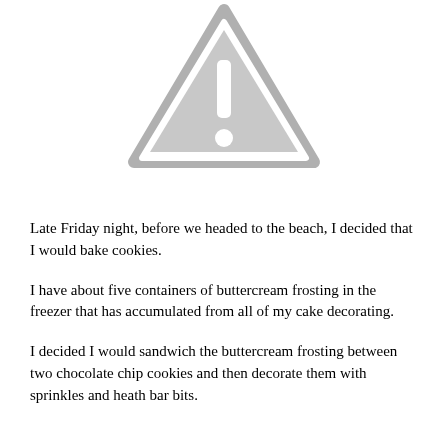[Figure (illustration): A gray warning/caution triangle icon with an exclamation mark inside, similar to a standard alert symbol.]
Late Friday night, before we headed to the beach, I decided that I would bake cookies.
I have about five containers of buttercream frosting in the freezer that has accumulated from all of my cake decorating.
I decided I would sandwich the buttercream frosting between two chocolate chip cookies and then decorate them with sprinkles and heath bar bits.